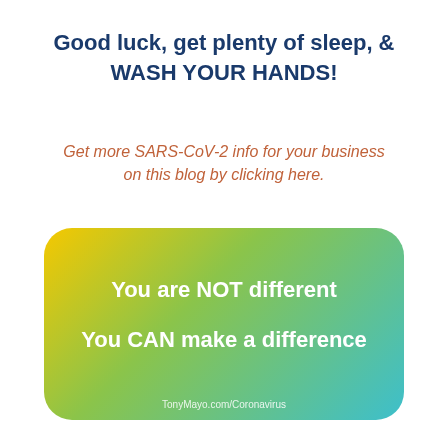Good luck, get plenty of sleep, & WASH YOUR HANDS!
Get more SARS-CoV-2 info for your business on this blog by clicking here.
[Figure (infographic): Rounded rectangle card with yellow-to-teal gradient background containing motivational text: 'You are NOT different' and 'You CAN make a difference', with URL TonyMayo.com/Coronavirus at bottom]